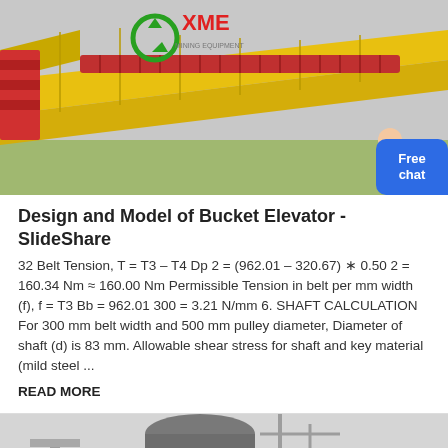[Figure (photo): Photo of yellow industrial conveyor/bucket elevator equipment with red ribbed rollers, XME Mining Equipment logo visible in upper portion]
Design and Model of Bucket Elevator - SlideShare
32 Belt Tension, T = T3 – T4 Dp 2 = (962.01 – 320.67) ∗ 0.50 2 = 160.34 Nm ≈ 160.00 Nm Permissible Tension in belt per mm width (f), f = T3 Bb = 962.01 300 = 3.21 N/mm 6. SHAFT CALCULATION For 300 mm belt width and 500 mm pulley diameter, Diameter of shaft (d) is 83 mm. Allowable shear stress for shaft and key material (mild steel ...
READ MORE
[Figure (photo): Partial photo of industrial equipment at bottom of page, appears to show mechanical/laboratory apparatus in black and white/grayscale]